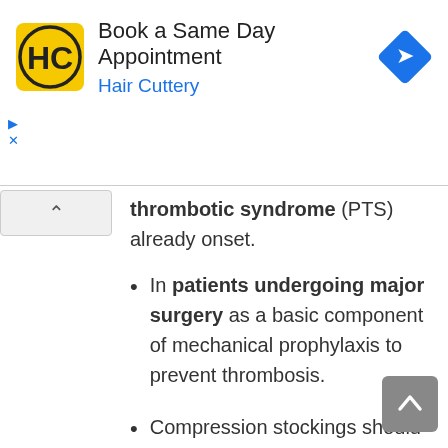[Figure (other): Hair Cuttery advertisement banner with HC logo, navigation diamond icon, text 'Book a Same Day Appointment' and 'Hair Cuttery'. Includes ad close controls (triangle and X icons).]
thrombotic syndrome (PTS) already onset.
In patients undergoing major surgery as a basic component of mechanical prophylaxis to prevent thrombosis.
Compression stockings should be considered in situations requiring thrombosis prevention